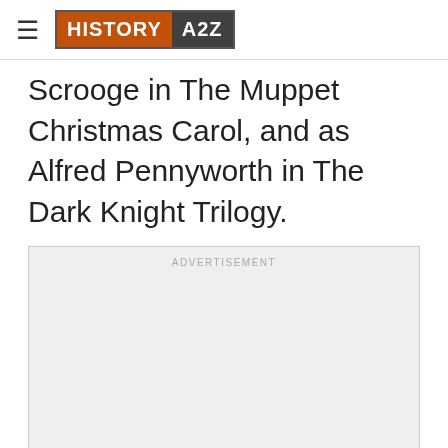HISTORY A2Z
Scrooge in The Muppet Christmas Carol, and as Alfred Pennyworth in The Dark Knight Trilogy.
[Figure (other): Advertisement placeholder box with light gray background and 'ADVERTISEMENT' label at top center]